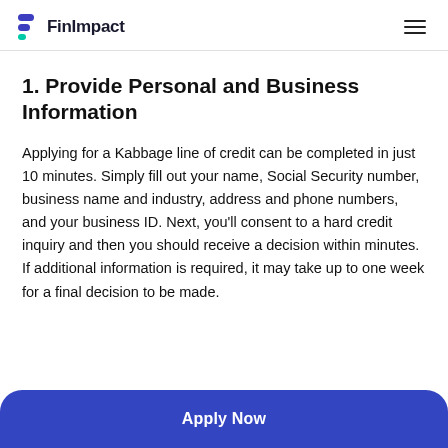FinImpact
1. Provide Personal and Business Information
Applying for a Kabbage line of credit can be completed in just 10 minutes. Simply fill out your name, Social Security number, business name and industry, address and phone numbers, and your business ID. Next, you’ll consent to a hard credit inquiry and then you should receive a decision within minutes. If additional information is required, it may take up to one week for a final decision to be made.
Apply Now